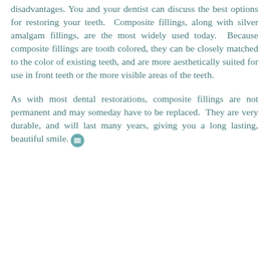disadvantages. You and your dentist can discuss the best options for restoring your teeth. Composite fillings, along with silver amalgam fillings, are the most widely used today. Because composite fillings are tooth colored, they can be closely matched to the color of existing teeth, and are more aesthetically suited for use in front teeth or the more visible areas of the teeth.
As with most dental restorations, composite fillings are not permanent and may someday have to be replaced. They are very durable, and will last many years, giving you a long lasting, beautiful smile.